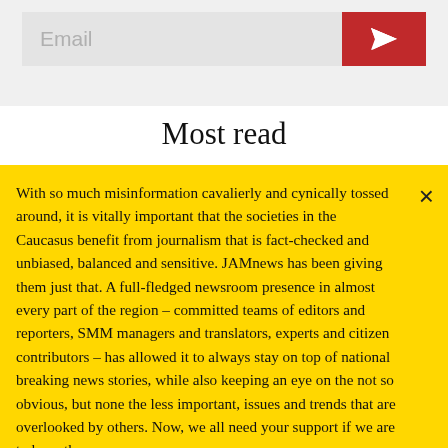[Figure (other): Email input field with send button (paper plane icon on red background)]
Most read
With so much misinformation cavalierly and cynically tossed around, it is vitally important that the societies in the Caucasus benefit from journalism that is fact-checked and unbiased, balanced and sensitive. JAMnews has been giving them just that. A full-fledged newsroom presence in almost every part of the region – committed teams of editors and reporters, SMM managers and translators, experts and citizen contributors – has allowed it to always stay on top of national breaking news stories, while also keeping an eye on the not so obvious, but none the less important, issues and trends that are overlooked by others. Now, we all need your support if we are to keep the
Support JAMnews →